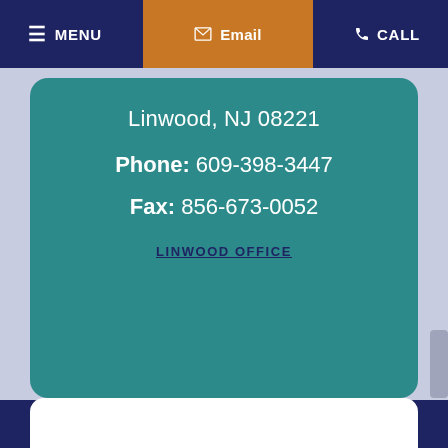MENU | Email | CALL
Linwood, NJ 08221
Phone: 609-398-3447
Fax: 856-673-0052
LINWOOD OFFICE